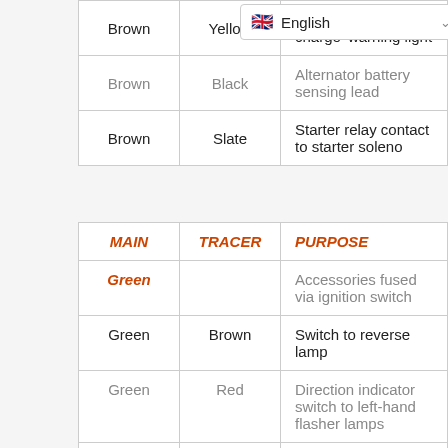| MAIN | TRACER | PURPOSE |
| --- | --- | --- |
| Brown | Yellow | Alternator to 'no charge' warning light |
| Brown | Black | Alternator battery sensing lead |
| Brown | Slate | Starter relay contact to starter solenoid |
| MAIN | TRACER | PURPOSE |
| --- | --- | --- |
| Green |  | Accessories fused via ignition switch |
| Green | Brown | Switch to reverse lamp |
| Green | Red | Direction indicator switch to left-hand flasher lamps |
| Green | Purple | Stop lamp switch to stop lamps, or stop lamp switch to lamp failure |